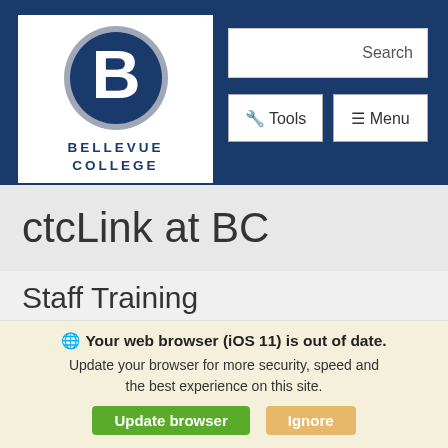[Figure (logo): Bellevue College logo: blue circle with silver ring and white letter B, with BELLEVUE COLLEGE text below]
Search | Tools | Menu
ctcLink at BC
Staff Training
Enrollment
View the following enrollment resources based on
Your web browser (iOS 11) is out of date. Update your browser for more security, speed and the best experience on this site.